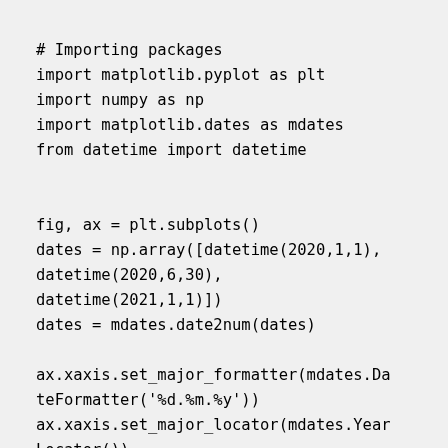# Importing packages
import matplotlib.pyplot as plt
import numpy as np
import matplotlib.dates as mdates
from datetime import datetime


fig, ax = plt.subplots()
dates = np.array([datetime(2020,1,1),
datetime(2020,6,30),
datetime(2021,1,1)])
dates = mdates.date2num(dates)

ax.xaxis.set_major_formatter(mdates.DateFormatter('%d.%m.%y'))
ax.xaxis.set_major_locator(mdates.YearLocator())

plt.vlines(x=dates, ymin=0, ymax=10,
color = 'r', linewidth=2)

for i, x in enumerate(dates):